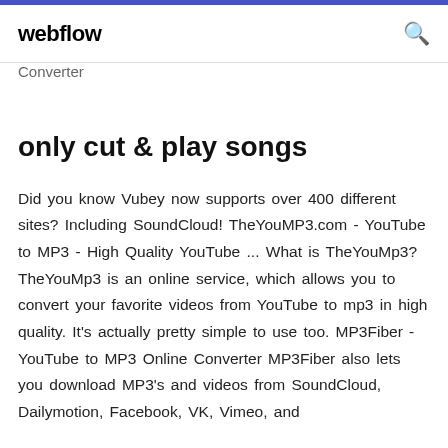webflow
Converter
only cut & play songs
Did you know Vubey now supports over 400 different sites? Including SoundCloud! TheYouMP3.com - YouTube to MP3 - High Quality YouTube ... What is TheYouMp3? TheYouMp3 is an online service, which allows you to convert your favorite videos from YouTube to mp3 in high quality. It's actually pretty simple to use too. MP3Fiber - YouTube to MP3 Online Converter MP3Fiber also lets you download MP3's and videos from SoundCloud, Dailymotion, Facebook, VK, Vimeo, and